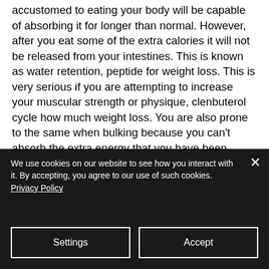accustomed to eating your body will be capable of absorbing it for longer than normal. However, after you eat some of the extra calories it will not be released from your intestines. This is known as water retention, peptide for weight loss. This is very serious if you are attempting to increase your muscular strength or physique, clenbuterol cycle how much weight loss. You are also prone to the same when bulking because you can't absorb the extra energy that you have been ingesting to support your growing muscles.
We use cookies on our website to see how you interact with it. By accepting, you agree to our use of such cookies. Privacy Policy
Settings
Accept